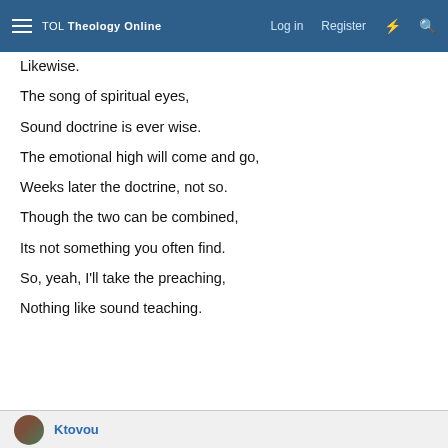TOL Theology Online | Log in | Register
Likewise.
The song of spiritual eyes,
Sound doctrine is ever wise.
The emotional high will come and go,
Weeks later the doctrine, not so.
Though the two can be combined,
Its not something you often find.
So, yeah, I'll take the preaching,
Nothing like sound teaching.
Ktovou